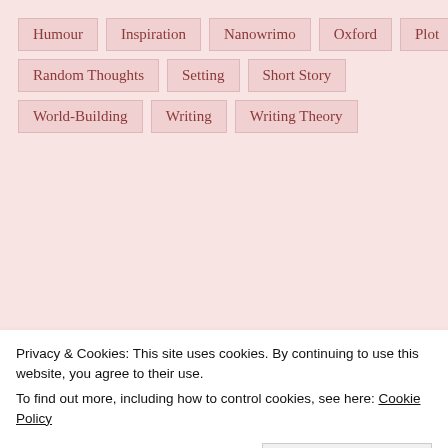Humour
Inspiration
Nanowrimo
Oxford
Plot
Random Thoughts
Setting
Short Story
World-Building
Writing
Writing Theory
Translate
Select Language
Privacy & Cookies: This site uses cookies. By continuing to use this website, you agree to their use.
To find out more, including how to control cookies, see here: Cookie Policy
Close and accept